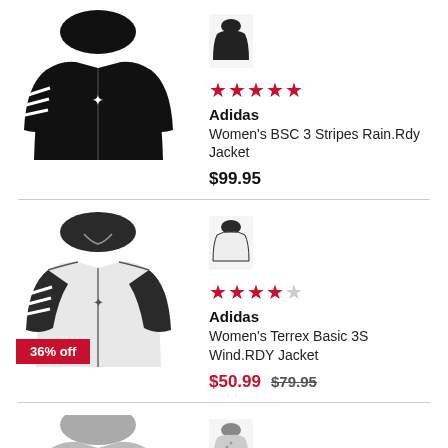[Figure (photo): Black Adidas Women's BSC 3 Stripes Rain.Rdy Jacket, full product image]
[Figure (photo): Small thumbnail of black Adidas jacket]
★★★★★ (4.5 stars)
Adidas
Women's BSC 3 Stripes Rain.Rdy Jacket
$99.95
[Figure (photo): White and black Adidas Women's Terrex Basic 3S Wind.RDY Jacket, full product image with 36% off badge]
[Figure (photo): Small thumbnail of white Adidas jacket]
★★★★☆ (4 stars)
Adidas
Women's Terrex Basic 3S Wind.RDY Jacket
$50.99  $79.95
[Figure (photo): Grey Adidas jacket, partial view]
[Figure (photo): Small thumbnail of grey patterned Adidas jacket]
★★★★★ (5 stars, partial view)